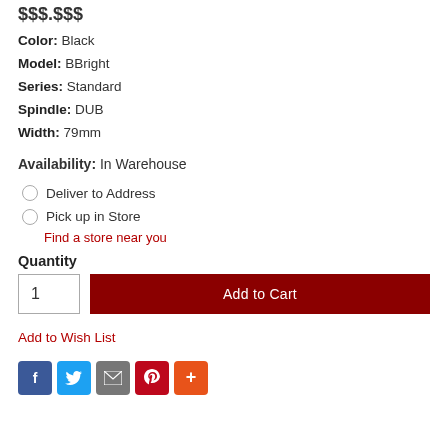$$$.$$$
Color: Black
Model: BBright
Series: Standard
Spindle: DUB
Width: 79mm
Availability: In Warehouse
Deliver to Address
Pick up in Store
Find a store near you
Quantity
1
Add to Cart
Add to Wish List